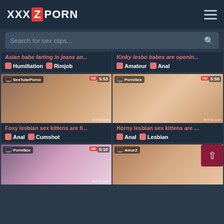[Figure (screenshot): XXX Z PORN website header with logo and hamburger menu]
Search for sex clips...
Asian babe farting in jeans an...
Humiliation  Rimjob
Kinky lesbo babes are openin...
Amateur  Anal
[Figure (photo): Video thumbnail - SexTubePorno HD 5:53 - Foxy lesbian sex kittens are fi... Anal Cumshot]
[Figure (photo): Video thumbnail - PorniSex HD 5:59 - Horny lesbian sex kittens are ... Anal Lesbian]
[Figure (photo): Video thumbnail - PorniSex HD 5:10 - partial thumbnail at bottom]
[Figure (photo): Video thumbnail - AmurZ HD - partial thumbnail at bottom]